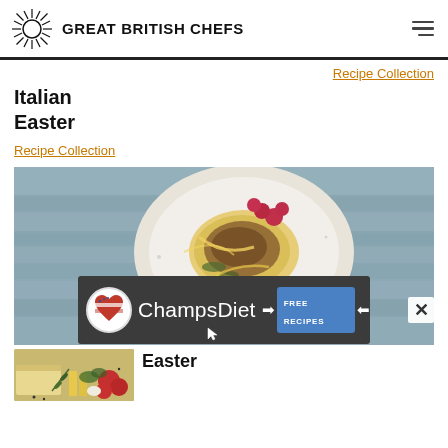GREAT BRITISH CHEFS
Recipe Collection
Italian Easter
Recipe Collection
[Figure (photo): A plate of pasta with meat sauce and raspberries on a rustic wooden table, top-down view]
[Figure (infographic): ChampsDiet advertisement banner with logo, brand name and FREE RECIPES button]
Easter